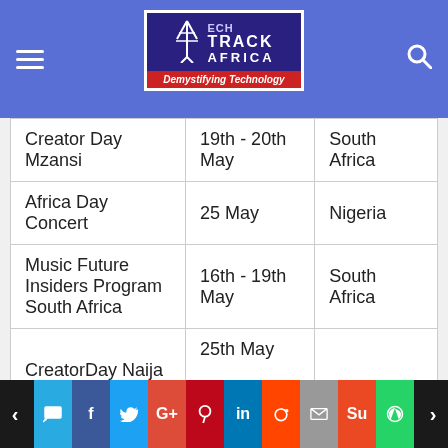[Figure (logo): Tech Track Africa logo with tagline 'Demystifying Technology' on blue header bar with hamburger menu and search icon]
| Event | Date | Location |
| --- | --- | --- |
| Creator Day Mzansi | 19th - 20th May | South Africa |
| Africa Day Concert | 25 May | Nigeria |
| Music Future Insiders Program South Africa | 16th - 19th May | South Africa |
| CreatorDay Naija

Aimy Inspire | 25th May

(10 am - 12:30 pm / 2:00 pm | Nigeria |